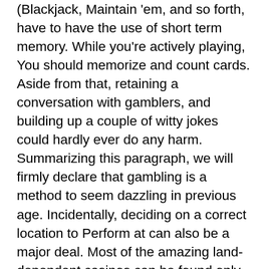(Blackjack, Maintain 'em, and so forth, have to have the use of short term memory. While you're actively playing, You should memorize and count cards. Aside from that, retaining a conversation with gamblers, and building up a couple of witty jokes could hardly ever do any harm. Summarizing this paragraph, we will firmly declare that gambling is a method to seem dazzling in previous age. Incidentally, deciding on a correct location to Perform at can also be a major deal. Most of the amazing land-dependent casinos can be found only in certain towns and the ones you have with your hometown may well not give you the mandatory enjoyment. Thankfully, today, we can easily Participate in at on-line gambling venues. But even In terms of on the internet casinos, it may be tricky to pick